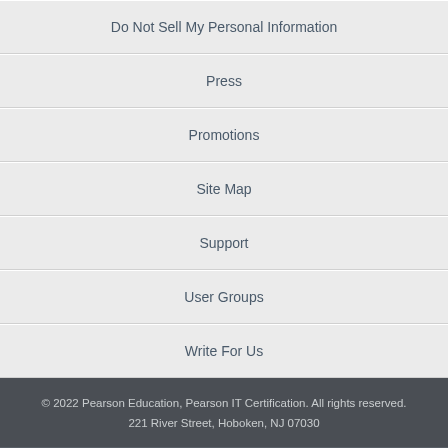Do Not Sell My Personal Information
Press
Promotions
Site Map
Support
User Groups
Write For Us
© 2022 Pearson Education, Pearson IT Certification. All rights reserved.
221 River Street, Hoboken, NJ 07030
This chapter is from the book